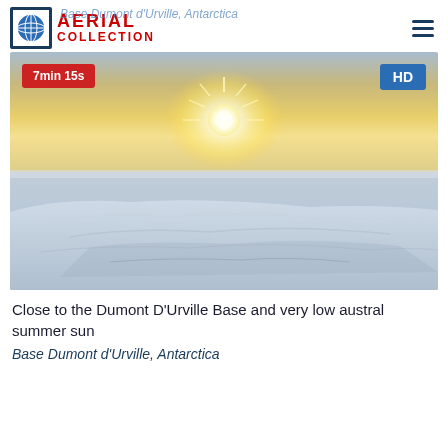AERIAL COLLECTION
[Figure (photo): Aerial photograph of ice sheets near Dumont D'Urville Base in Antarctica, with a very low austral summer sun near the horizon casting golden light over the snow and ice formations.]
Close to the Dumont D'Urville Base and very low austral summer sun
Base Dumont d'Urville, Antarctica